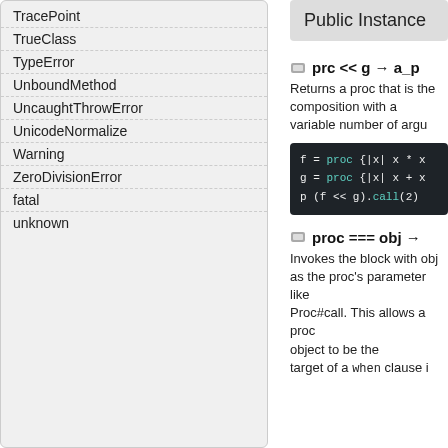TracePoint
TrueClass
TypeError
UnboundMethod
UncaughtThrowError
UnicodeNormalize
Warning
ZeroDivisionError
fatal
unknown
Public Instance
prc << g → a_p
Returns a proc that is the composition with a variable number of argu
[Figure (screenshot): Code block showing: f = proc {|x| x * x
g = proc {|x| x + x
p (f << g).call(2)]
proc === obj →
Invokes the block with obj as the proc's parameter like Proc#call. This allows a proc object to be the target of a when clause in a